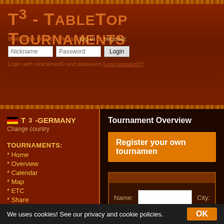T³ - TableTop Tournaments
Welcome Guest. Please log in or register.
Login with nickname/ID and password (Lost password?).
T³-GERMANY
Change country
TOURNAMENTS:
* Home
* Overview
* Calendar
* Map
* ETC
* Share
* Search
PLAYERS:
* Login
Tournament Overview
Register your own tournament
Name:
City:
We uses cookies! See our privacy and cookie policies.